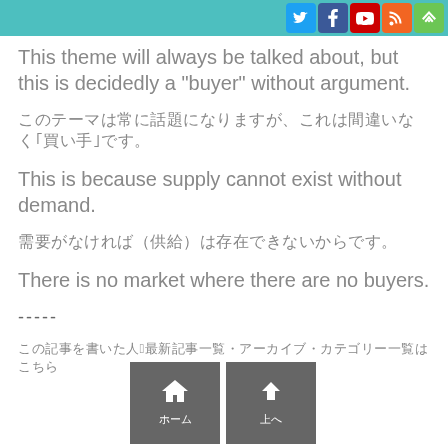[social icons: Twitter, Facebook, YouTube, RSS, Feedly]
This theme will always be talked about, but this is decidedly a "buyer" without argument.
[Japanese text line 1]
This is because supply cannot exist without demand.
[Japanese text line 2 with parenthetical]
There is no market where there are no buyers.
-----
[Japanese text footer line with 3 and navigation buttons]